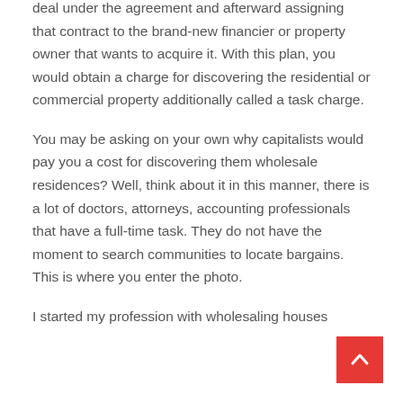deal under the agreement and afterward assigning that contract to the brand-new financier or property owner that wants to acquire it. With this plan, you would obtain a charge for discovering the residential or commercial property additionally called a task charge.
You may be asking on your own why capitalists would pay you a cost for discovering them wholesale residences? Well, think about it in this manner, there is a lot of doctors, attorneys, accounting professionals that have a full-time task. They do not have the moment to search communities to locate bargains. This is where you enter the photo.
I started my profession with wholesaling houses